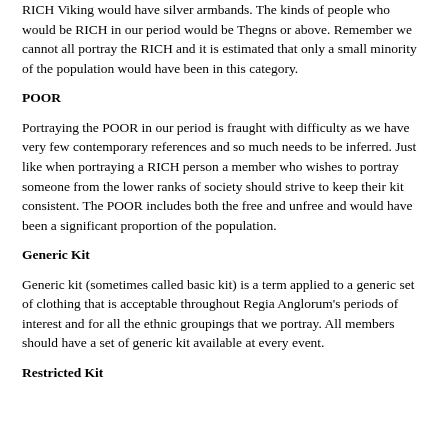RICH Viking would have silver armbands. The kinds of people who would be RICH in our period would be Thegns or above. Remember we cannot all portray the RICH and it is estimated that only a small minority of the population would have been in this category.
POOR
Portraying the POOR in our period is fraught with difficulty as we have very few contemporary references and so much needs to be inferred. Just like when portraying a RICH person a member who wishes to portray someone from the lower ranks of society should strive to keep their kit consistent. The POOR includes both the free and unfree and would have been a significant proportion of the population.
Generic Kit
Generic kit (sometimes called basic kit) is a term applied to a generic set of clothing that is acceptable throughout Regia Anglorum's periods of interest and for all the ethnic groupings that we portray. All members should have a set of generic kit available at every event.
Restricted Kit